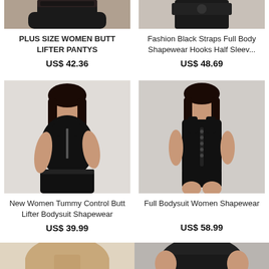[Figure (photo): Top-cropped photo of plus size women butt lifter pantys in black lace]
PLUS SIZE WOMEN BUTT LIFTER PANTYS
US$ 42.36
[Figure (photo): Top-cropped photo of Fashion Black Straps Full Body Shapewear Hooks Half Sleeve]
Fashion Black Straps Full Body Shapewear Hooks Half Sleev...
US$ 48.69
[Figure (photo): Full photo of New Women Tummy Control Butt Lifter Bodysuit Shapewear in black]
New Women Tummy Control Butt Lifter Bodysuit Shapewear
US$ 39.99
[Figure (photo): Full photo of Full Bodysuit Women Shapewear in black]
Full Bodysuit Women Shapewear
US$ 58.99
[Figure (photo): Bottom-cropped photo of shapewear product in beige/nude]
[Figure (photo): Bottom-cropped photo of shapewear product in black]